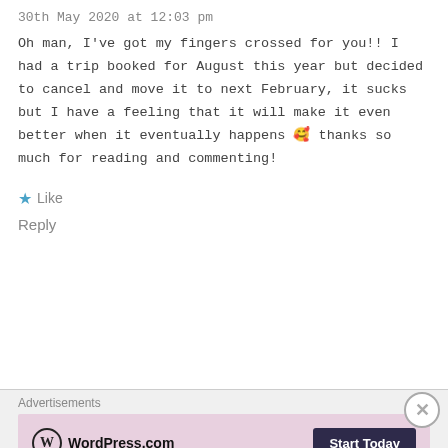30th May 2020 at 12:03 pm
Oh man, I've got my fingers crossed for you!! I had a trip booked for August this year but decided to cancel and move it to next February, it sucks but I have a feeling that it will make it even better when it eventually happens 🥰 thanks so much for reading and commenting!
★ Like
Reply
Advertisements
[Figure (logo): WordPress.com logo with Start Today button on pink/mauve banner]